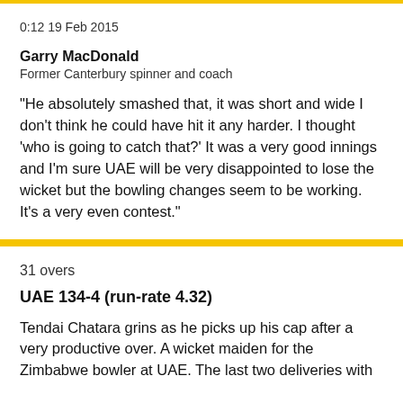0:12 19 Feb 2015
Garry MacDonald
Former Canterbury spinner and coach
"He absolutely smashed that, it was short and wide I don't think he could have hit it any harder. I thought 'who is going to catch that?' It was a very good innings and I'm sure UAE will be very disappointed to lose the wicket but the bowling changes seem to be working. It's a very even contest."
31 overs
UAE 134-4 (run-rate 4.32)
Tendai Chatara grins as he picks up his cap after a very productive over. A wicket maiden for the Zimbabwe bowler at UAE. The last two deliveries with...